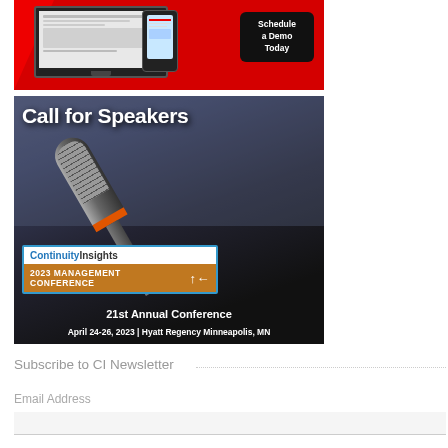[Figure (illustration): Advertisement banner with red background showing a computer screen and mobile phone with 'Schedule a Demo Today' button]
[Figure (photo): Call for Speakers banner for ContinuityInsights 2023 Management Conference, 21st Annual Conference, April 24-26, 2023 | Hyatt Regency Minneapolis, MN. Background shows a blurred microphone in conference setting.]
Subscribe to CI Newsletter
Email Address